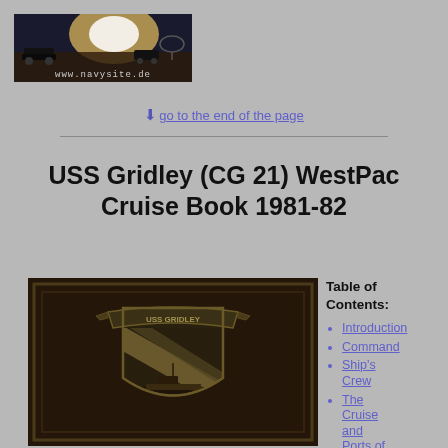[Figure (logo): www.navysite.de banner logo with military vehicles and bright light, dark background]
↓ go to the end of the page
USS Gridley (CG 21) WestPac Cruise Book 1981-82
[Figure (photo): Dark brown ship cruise book cover with USS Gridley shield/crest emblem showing diagonal stripes and a ship, with banner reading USS GRIDLEY]
Table of Contents:
Introduction
Command
Ship's Crew
The Cruise and Ports of